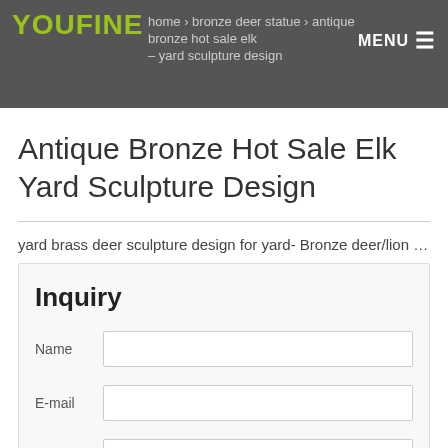YOUFINE | home › bronze deer statue › antique bronze hot sale elk yard sculpture design | MENU
Antique Bronze Hot Sale Elk Yard Sculpture Design
yard brass deer sculpture design for yard- Bronze deer/lion …
Inquiry
Name
E-mail
TEL